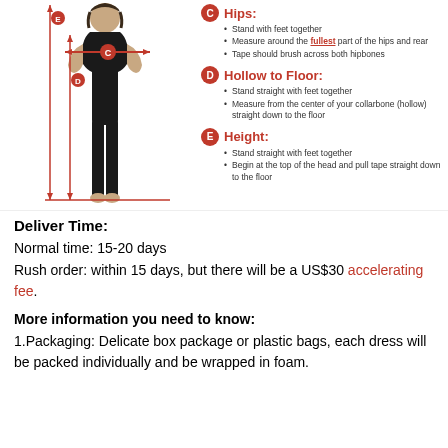[Figure (illustration): Diagram of a woman in black leggings showing measurement points C (hips), D (hollow to floor), and E (height) with red arrows and measurement lines.]
C Hips: Stand with feet together. Measure around the fullest part of the hips and rear. Tape should brush across both hipbones.
D Hollow to Floor: Stand straight with feet together. Measure from the center of your collarbone (hollow) straight down to the floor.
E Height: Stand straight with feet together. Begin at the top of the head and pull tape straight down to the floor.
Deliver Time:
Normal time: 15-20 days
Rush order: within 15 days, but there will be a US$30 accelerating fee.
More information you need to know:
1.Packaging: Delicate box package or plastic bags, each dress will be packed individually and be wrapped in foam.